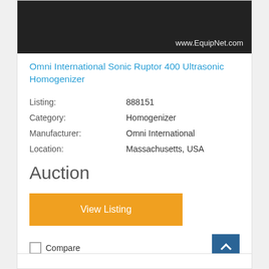[Figure (photo): Dark background photo with www.EquipNet.com watermark in the lower right corner]
Omni International Sonic Ruptor 400 Ultrasonic Homogenizer
| Listing: | 888151 |
| Category: | Homogenizer |
| Manufacturer: | Omni International |
| Location: | Massachusetts, USA |
Auction
View Listing
Compare